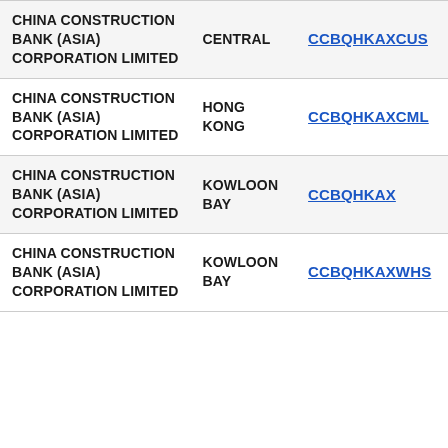| CHINA CONSTRUCTION BANK (ASIA) CORPORATION LIMITED | CENTRAL | CCBQHKAXCUS |
| CHINA CONSTRUCTION BANK (ASIA) CORPORATION LIMITED | HONG KONG | CCBQHKAXCML |
| CHINA CONSTRUCTION BANK (ASIA) CORPORATION LIMITED | KOWLOON BAY | CCBQHKAX |
| CHINA CONSTRUCTION BANK (ASIA) CORPORATION LIMITED | KOWLOON BAY | CCBQHKAXWHS |